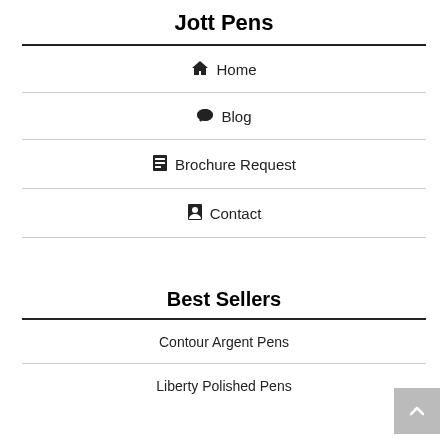Jott Pens
Home
Blog
Brochure Request
Contact
Best Sellers
Contour Argent Pens
Liberty Polished Pens